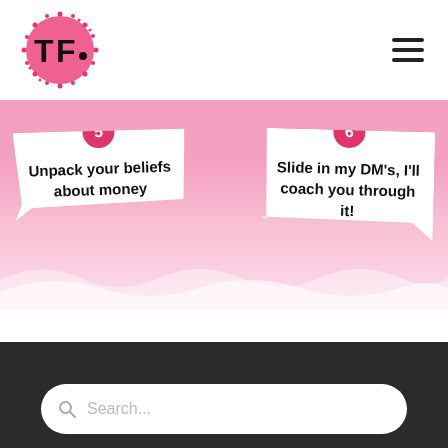[Figure (logo): TF logo: pink spiky circle with TF text inside]
[Figure (infographic): Pink banner with two numbered cards: card 5 'Unpack your beliefs about money' and card 6 'Slide in my DM's, I'll coach you through it!']
5 Unpack your beliefs about money
6 Slide in my DM's, I'll coach you through it!
[Figure (screenshot): Dark footer section with a search bar placeholder 'Search...']